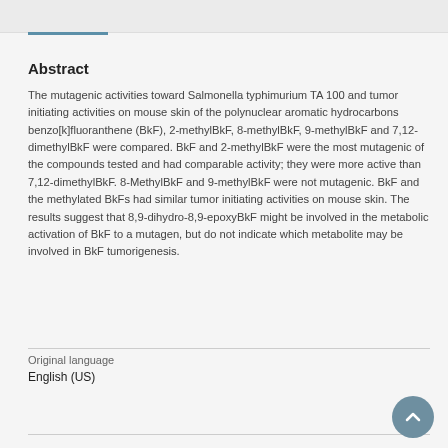Abstract
The mutagenic activities toward Salmonella typhimurium TA 100 and tumor initiating activities on mouse skin of the polynuclear aromatic hydrocarbons benzo[k]fluoranthene (BkF), 2-methylBkF, 8-methylBkF, 9-methylBkF and 7,12-dimethylBkF were compared. BkF and 2-methylBkF were the most mutagenic of the compounds tested and had comparable activity; they were more active than 7,12-dimethylBkF. 8-MethylBkF and 9-methylBkF were not mutagenic. BkF and the methylated BkFs had similar tumor initiating activities on mouse skin. The results suggest that 8,9-dihydro-8,9-epoxyBkF might be involved in the metabolic activation of BkF to a mutagen, but do not indicate which metabolite may be involved in BkF tumorigenesis.
Original language
English (US)